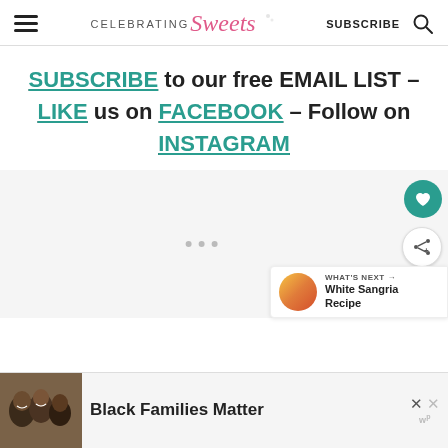Celebrating Sweets — SUBSCRIBE
SUBSCRIBE to our free EMAIL LIST – LIKE us on FACEBOOK – Follow on INSTAGRAM
[Figure (screenshot): Ad placeholder area with three gray dots, floating heart (favorite) button in teal and share button in white, plus a 'What's Next' panel showing White Sangria Recipe]
[Figure (photo): Bottom banner ad showing smiling Black family with text 'Black Families Matter' with close and wp buttons]